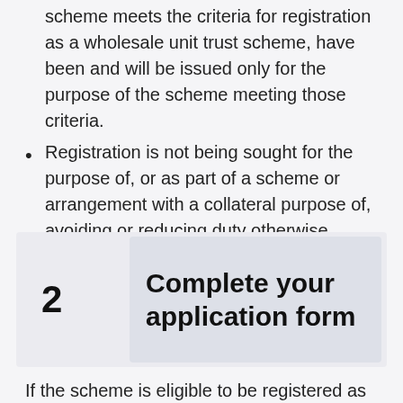scheme meets the criteria for registration as a wholesale unit trust scheme, have been and will be issued only for the purpose of the scheme meeting those criteria.
Registration is not being sought for the purpose of, or as part of a scheme or arrangement with a collateral purpose of, avoiding or reducing duty otherwise chargeable under Part 2 of Chapter 3 of the Act.
2  Complete your application form
If the scheme is eligible to be registered as an investment trust scheme, it must demonstrate the